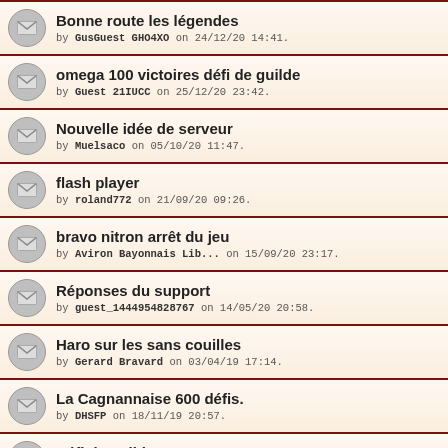Bonne route les légendes
by GusGuest GHO4X0 on 24/12/20 14:41.
omega 100 victoires défi de guilde
by Guest 21IUCC on 25/12/20 23:42.
Nouvelle idée de serveur
by Muelsaco on 05/10/20 11:47.
flash player
by roland772 on 21/09/20 09:26.
bravo nitron arrêt du jeu
by Aviron Bayonnais Lib... on 15/09/20 23:17.
Réponses du support
by guest_1444954828767 on 14/05/20 20:58.
Haro sur les sans couilles
by Gerard Bravard on 03/04/19 17:14.
La Cagnannaise 600 défis.
by DHSFP on 18/11/19 20:57.
Défi de guilde
by Chmonfils on 02/12/18 21:53.
Évolution hôtel de guilde